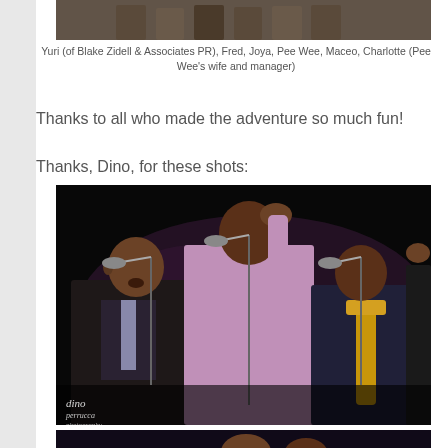[Figure (photo): Top portion of a group photo partially visible at top of page]
Yuri (of Blake Zidell & Associates PR), Fred, Joya, Pee Wee, Maceo, Charlotte (Pee Wee's wife and manager)
Thanks to all who made the adventure so much fun!
Thanks, Dino, for these shots:
[Figure (photo): Concert photo showing three performers on stage at microphones, with stage lighting. Watermark reads 'dino perrucca photography' in bottom left.]
[Figure (photo): Bottom of another concert photo partially visible at bottom of page]